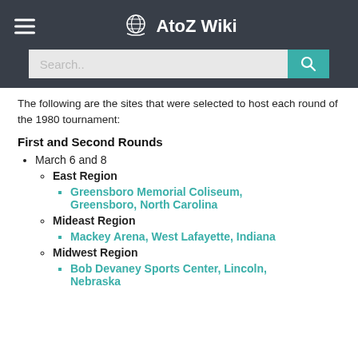AtoZ Wiki
The following are the sites that were selected to host each round of the 1980 tournament:
First and Second Rounds
March 6 and 8
East Region
Greensboro Memorial Coliseum, Greensboro, North Carolina
Mideast Region
Mackey Arena, West Lafayette, Indiana
Midwest Region
Bob Devaney Sports Center, Lincoln, Nebraska